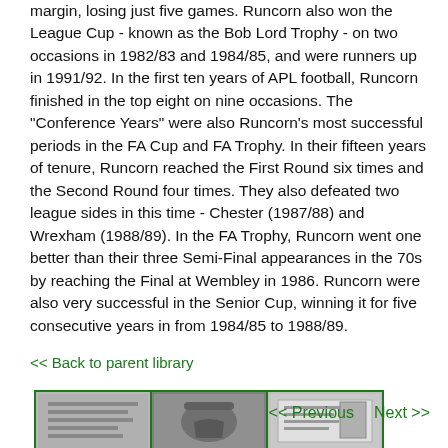margin, losing just five games. Runcorn also won the League Cup - known as the Bob Lord Trophy - on two occasions in 1982/83 and 1984/85, and were runners up in 1991/92. In the first ten years of APL football, Runcorn finished in the top eight on nine occasions. The "Conference Years" were also Runcorn's most successful periods in the FA Cup and FA Trophy. In their fifteen years of tenure, Runcorn reached the First Round six times and the Second Round four times. They also defeated two league sides in this time - Chester (1987/88) and Wrexham (1988/89). In the FA Trophy, Runcorn went one better than their three Semi-Final appearances in the 70s by reaching the Final at Wembley in 1986. Runcorn were also very successful in the Senior Cup, winning it for five consecutive years in from 1984/85 to 1988/89.
<< Back to parent library
[Figure (photo): Three small thumbnail images in a row, each with a green border. First shows a text/document image, second shows a pewter mug, third shows a document/form image.]
<< Previous   Next >>